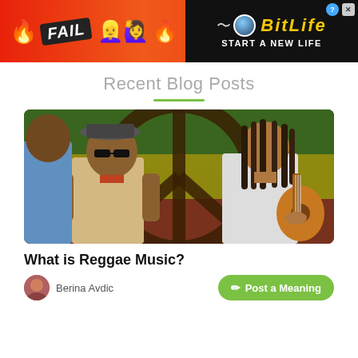[Figure (screenshot): Advertisement banner for BitLife app with red/orange background, FAIL text badge, cartoon character, and BitLife logo with 'START A NEW LIFE' text]
Recent Blog Posts
[Figure (photo): Illustrated/artistic photo of two reggae musicians standing in front of a large peace sign painted in Rastafarian colors (red, yellow, green) on a wall. One man wears a hat and sunglasses, another has dreadlocks and holds a guitar.]
What is Reggae Music?
Berina Avdic
Post a Meaning